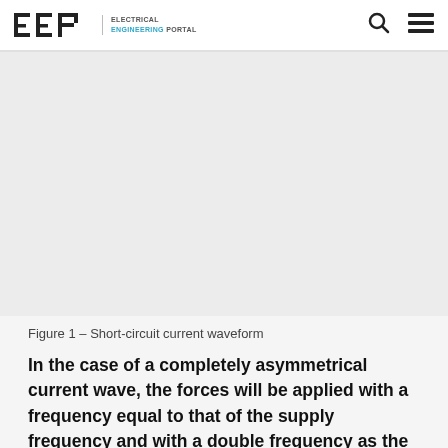EEP | ELECTRICAL ENGINEERING PORTAL
[Figure (other): Short-circuit current waveform image placeholder (large grey area)]
Figure 1 – Short-circuit current waveform
In the case of a completely asymmetrical current wave, the forces will be applied with a frequency equal to that of the supply frequency and with a double frequency as the wave becomes symmetrical